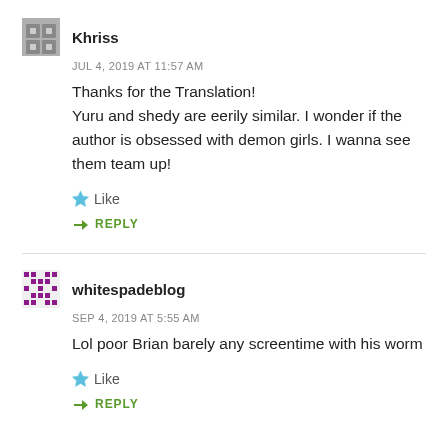Khriss
JUL 4, 2019 AT 11:57 AM
Thanks for the Translation!
Yuru and shedy are eerily similar. I wonder if the author is obsessed with demon girls. I wanna see them team up!
Like
REPLY
whitespadeblog
SEP 4, 2019 AT 5:55 AM
Lol poor Brian barely any screentime with his worm
Like
REPLY